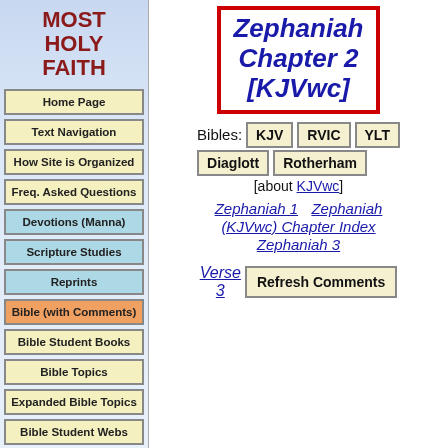MOST HOLY FAITH
Home Page
Text Navigation
How Site is Organized
Freq. Asked Questions
Devotions (Manna)
Scripture Studies
Reprints
Bible (with Comments)
Bible Student Books
Bible Topics
Expanded Bible Topics
Bible Student Webs
Miscellaneous
Zephaniah Chapter 2 [KJVwc]
Bibles: KJV  RVIC  YLT  Diaglott  Rotherham
[about KJVwc]
Zephaniah 1   Zephaniah (KJVwc) Chapter Index   Zephaniah 3
Verse 3   Refresh Comments